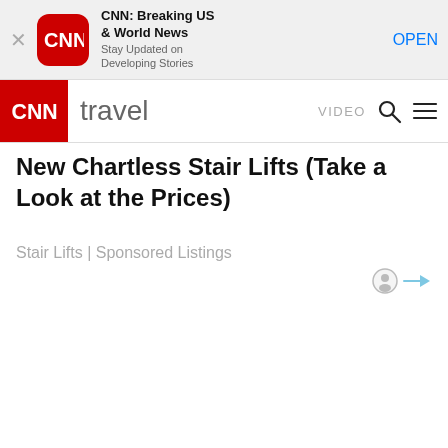[Figure (screenshot): CNN app banner with close button, CNN logo icon, app name 'CNN: Breaking US & World News', subtitle 'Stay Updated on Developing Stories', and OPEN button]
CNN travel  VIDEO
New Chartless Stair Lifts (Take a Look at the Prices)
Stair Lifts | Sponsored Listings